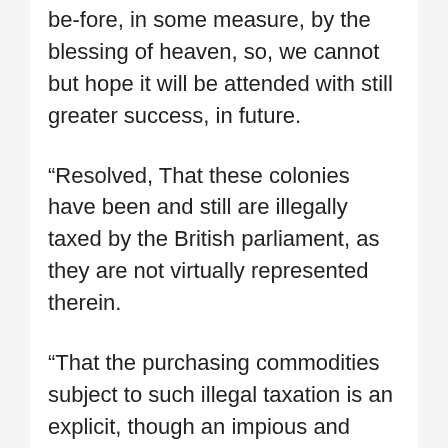be-fore, in some measure, by the blessing of heaven, so, we cannot but hope it will be attended with still greater success, in future.
“Resolved, That these colonies have been and still are illegally taxed by the British parliament, as they are not virtually represented therein.
“That the purchasing commodities subject to such illegal taxation is an explicit, though an impious and sordid resignation of the liberties of this free and happy people.
“That, as the British parliament have em-powered the East India Company to export their tea into America, for the sole purpose of raising